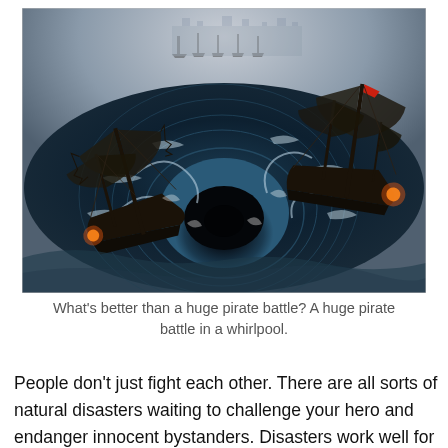[Figure (illustration): Fantasy digital painting of pirate ships caught in a massive ocean whirlpool. Two large sailing ships with dark tattered sails are on the left and right sides of a giant swirling vortex. In the background, a fleet of ships and a misty cityscape are visible. The water is turbulent with white-capped waves spiraling into a deep dark void at the center. One ship appears to be firing a cannon on the right side.]
What's better than a huge pirate battle? A huge pirate battle in a whirlpool.
People don't just fight each other. There are all sorts of natural disasters waiting to challenge your hero and endanger innocent bystanders. Disasters work well for characters that are traveling. They're also a